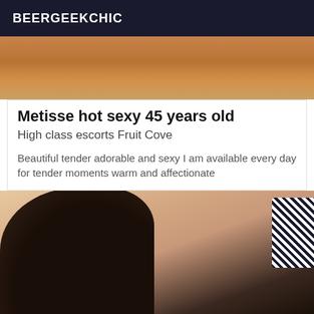BEERGEEKCHIC
[Figure (photo): Cropped photo showing warm brown/amber tones, partial view of a person]
Metisse hot sexy 45 years old
High class escorts Fruit Cove
Beautiful tender adorable and sexy I am available every day for tender moments warm and affectionate
[Figure (photo): Photo of a woman with dark hair wearing dark lingerie, peach/skin-tone background, striped item visible at top right]